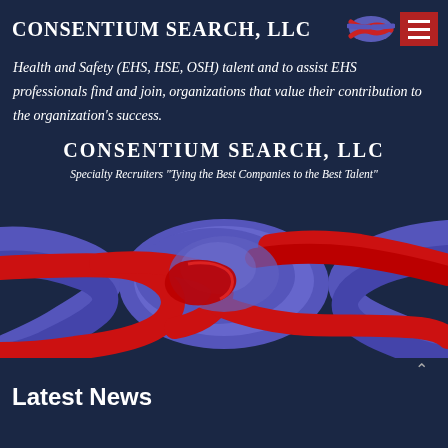CONSENTIUM SEARCH, LLC
Health and Safety (EHS, HSE, OSH) talent and to assist EHS professionals find and join, organizations that value their contribution to the organization's success.
CONSENTIUM SEARCH, LLC
Specialty Recruiters "Tying the Best Companies to the Best Talent"
[Figure (illustration): A red and blue/purple rope tied in a square knot against a dark navy background, symbolizing the company brand of tying together companies and talent.]
Latest News